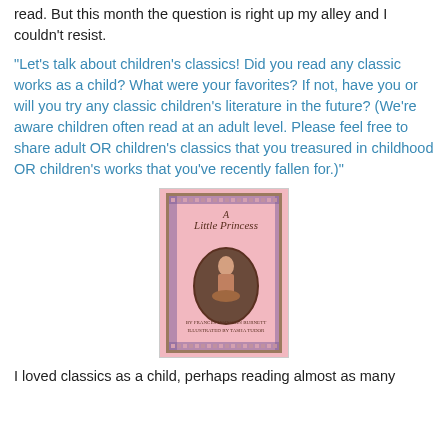read. But this month the question is right up my alley and I couldn't resist.
"Let's talk about children's classics! Did you read any classic works as a child? What were your favorites? If not, have you or will you try any classic children's literature in the future? (We're aware children often read at an adult level. Please feel free to share adult OR children's classics that you treasured in childhood OR children's works that you've recently fallen for.)"
[Figure (illustration): Book cover of 'A Little Princess' with pink background, ornate border, oval illustration of a girl in period dress, author and illustrator text at the bottom]
I loved classics as a child, perhaps reading almost as many